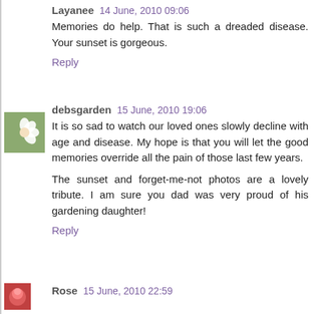Layanee  14 June, 2010 09:06
Memories do help. That is such a dreaded disease. Your sunset is gorgeous.
Reply
[Figure (photo): Small square avatar photo of a white flower (debsgarden user avatar)]
debsgarden  15 June, 2010 19:06
It is so sad to watch our loved ones slowly decline with age and disease. My hope is that you will let the good memories override all the pain of those last few years.
The sunset and forget-me-not photos are a lovely tribute. I am sure you dad was very proud of his gardening daughter!
Reply
[Figure (photo): Small square avatar photo of a red/pink rose (Rose user avatar)]
Rose  15 June, 2010 22:59